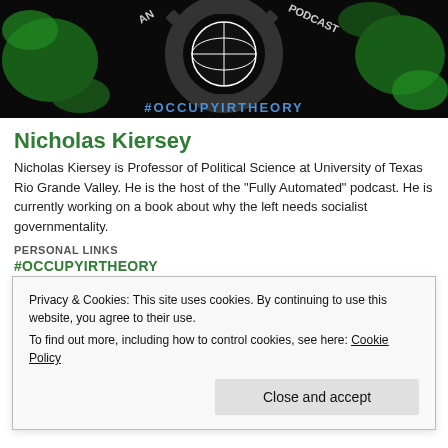[Figure (photo): Hero image showing a circular gear-shaped logo with '#OCCUPYIRTHEORY' text and 'PODCAST' text on a dark background with green globe/map imagery]
Nicholas Kiersey
Nicholas Kiersey is Professor of Political Science at University of Texas Rio Grande Valley. He is the host of the "Fully Automated" podcast. He is currently working on a book about why the left needs socialist governmentality.
PERSONAL LINKS
#OCCUPYIRTHEORY
Privacy & Cookies: This site uses cookies. By continuing to use this website, you agree to their use.
To find out more, including how to control cookies, see here: Cookie Policy
Close and accept